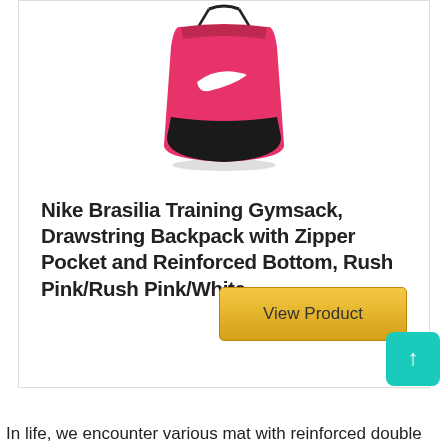[Figure (photo): Pink Nike Brasilia drawstring gymsack with white Nike swoosh logo and black reinforced bottom]
Nike Brasilia Training Gymsack, Drawstring Backpack with Zipper Pocket and Reinforced Bottom, Rush Pink/Rush Pink/White
View Product
In life, we encounter various mat with reinforced double